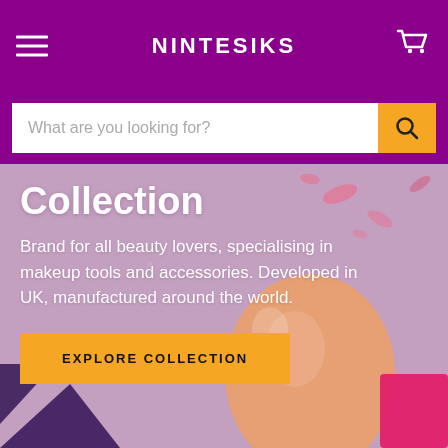NINTESIKS
What are you looking for?
Collection
Brand for all beauty lovers, specialising in makeup tools and accessories. Developed in UK, manufactured around the world.
EXPLORE COLLECTION
[Figure (photo): Background photo of beauty/makeup tools and accessories on a light purple/mauve surface, including what appears to be a beauty blender sponge and other makeup accessories.]